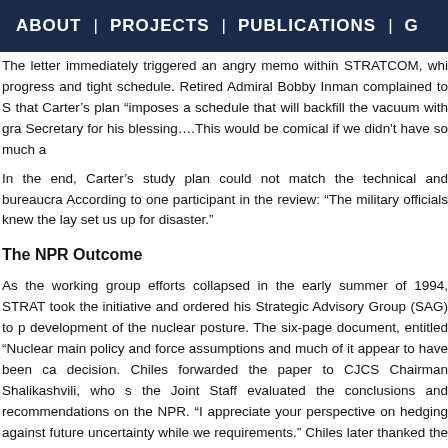ABOUT | PROJECTS | PUBLICATIONS | G
The letter immediately triggered an angry memo within STRATCOM, whi progress and tight schedule. Retired Admiral Bobby Inman complained to S that Carter’s plan “imposes a schedule that will backfill the vacuum with gra Secretary for his blessing….This would be comical if we didn't have so much a
In the end, Carter’s study plan could not match the technical and bureaucra According to one participant in the review: “The military officials knew the lay set us up for disaster.”
The NPR Outcome
As the working group efforts collapsed in the early summer of 1994, STRAT took the initiative and ordered his Strategic Advisory Group (SAG) to p development of the nuclear posture. The six-page document, entitled “Nuclear main policy and force assumptions and much of it appear to have been ca decision. Chiles forwarded the paper to CJCS Chairman Shalikashvili, who s the Joint Staff evaluated the conclusions and recommendations on the NPR. “I appreciate your perspective on hedging against future uncertainty while we requirements.” Chiles later thanked the SAG for the paper, which he sa preparing the NPR.